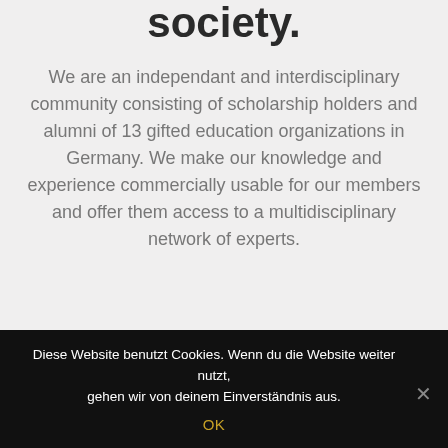society.
We are an independant and interdisciplinary community consisting of scholarship holders and alumni of 13 gifted education organizations in Germany. We make our knowledge and experience commercially usable for our members and offer them access to a multidisciplinary network of experts.
Diese Website benutzt Cookies. Wenn du die Website weiter nutzt, gehen wir von deinem Einverständnis aus.
OK